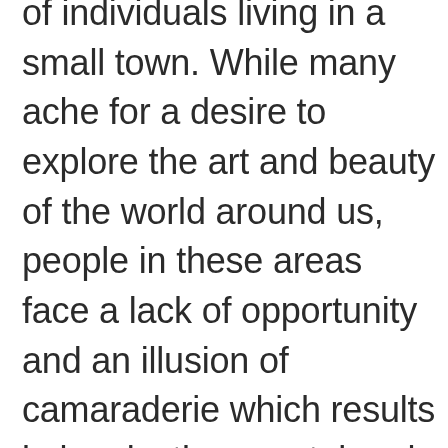of individuals living in a small town. While many ache for a desire to explore the art and beauty of the world around us, people in these areas face a lack of opportunity and an illusion of camaraderie which results in longlasting mental and physical effects as they seek escapism. Experiencing this first hand during a time of unease, Ryan Kaiser (who creates music as Yot Club) instead focused on his excitement for the future in creating off the grid. His most vulnerable and honest music to date, the expansive collection of lo-fi